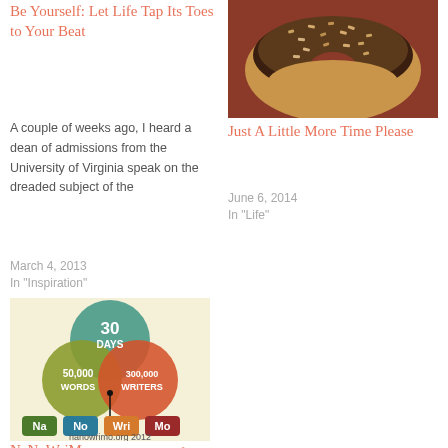Be Yourself: Let Life Tap Its Toes to Your Beat
A couple of weeks ago, I heard a dean of admissions from the University of Virginia speak on the dreaded subject of the
March 4, 2013
In "Inspiration"
[Figure (photo): Photo of a chocolate and nut-covered donut]
Just A Little More Time Please
June 6, 2014
In "Life"
[Figure (infographic): NaNoWriMo infographic showing 30 Days, 50,000 Words, 300,000 Writers Venn diagram with NaNoWriMo logo and nanowrimo.org 2012]
NaNoWriMo Inspiration: Life is for Enjoying
November 5, 2012